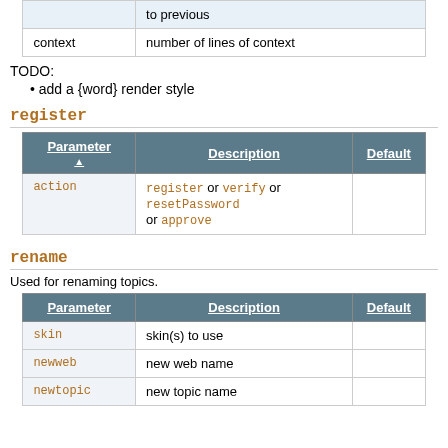|  |  |
| --- | --- |
|  | to previous |
| context | number of lines of context |
TODO:
add a {word} render style
register
| Parameter ▲ | Description | Default |
| --- | --- | --- |
| action | register or verify or resetPassword or approve |  |
rename
Used for renaming topics.
| Parameter | Description | Default |
| --- | --- | --- |
| skin | skin(s) to use |  |
| newweb | new web name |  |
| newtopic | new topic name |  |